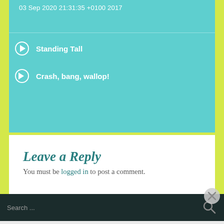03 Sep 2020 21:31:35 +0100 2017
Standing Tall
Crash, bang, wallop!
Leave a Reply
You must be logged in to post a comment.
Search ...
Advertisements